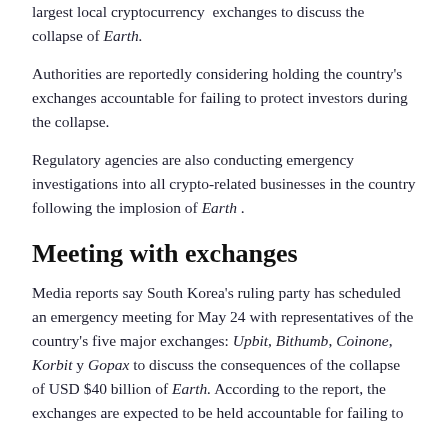largest local cryptocurrency exchanges to discuss the collapse of Earth.
Authorities are reportedly considering holding the country's exchanges accountable for failing to protect investors during the collapse.
Regulatory agencies are also conducting emergency investigations into all crypto-related businesses in the country following the implosion of Earth .
Meeting with exchanges
Media reports say South Korea's ruling party has scheduled an emergency meeting for May 24 with representatives of the country's five major exchanges: Upbit, Bithumb, Coinone, Korbit y Gopax to discuss the consequences of the collapse of USD $40 billion of Earth. According to the report, the exchanges are expected to be held accountable for failing to